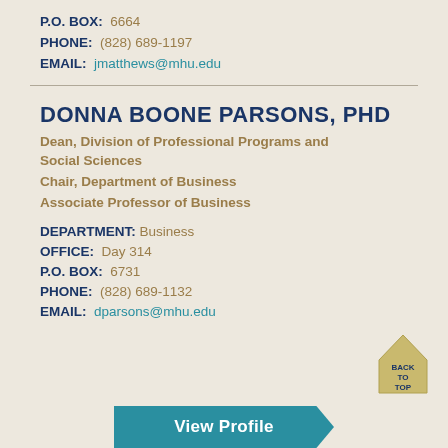P.O. BOX: 6664
PHONE: (828) 689-1197
EMAIL: jmatthews@mhu.edu
DONNA BOONE PARSONS, PHD
Dean, Division of Professional Programs and Social Sciences
Chair, Department of Business
Associate Professor of Business
DEPARTMENT: Business
OFFICE: Day 314
P.O. BOX: 6731
PHONE: (828) 689-1132
EMAIL: dparsons@mhu.edu
[Figure (other): Back to Top button — gold house/arrow shape with text BACK TO TOP]
[Figure (other): View Profile button — teal arrow/chevron shape with white bold text View Profile]